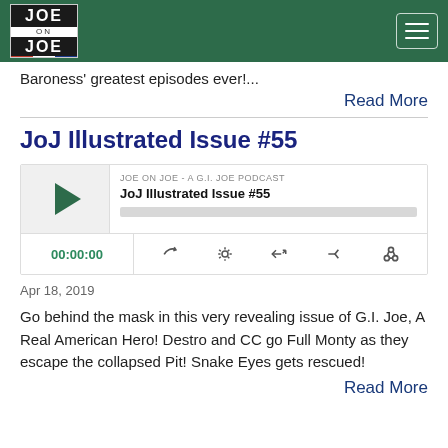Joe on Joe - A G.I. Joe Podcast
Baroness' greatest episodes ever!...
Read More
JoJ Illustrated Issue #55
[Figure (other): Podcast player widget for 'JoJ Illustrated Issue #55' on Joe on Joe - A G.I. Joe Podcast, showing play button, episode title, progress bar, time display 00:00:00, and control icons.]
Apr 18, 2019
Go behind the mask in this very revealing issue of G.I. Joe, A Real American Hero! Destro and CC go Full Monty as they escape the collapsed Pit! Snake Eyes gets rescued!
Read More